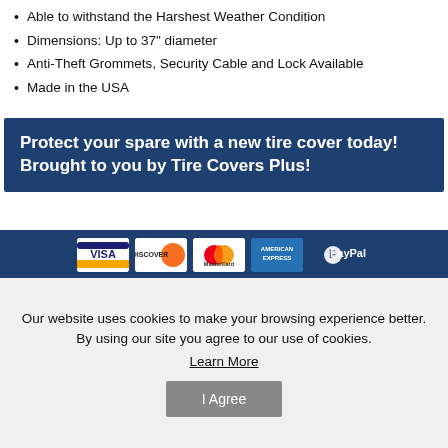Able to withstand the Harshest Weather Condition
Dimensions: Up to 37" diameter
Anti-Theft Grommets, Security Cable and Lock Available
Made in the USA
Protect your spare with a new tire cover today! Brought to you by Tire Covers Plus!
[Figure (other): Payment method logos: Visa, Discover, MasterCard, American Express, PayPal on dark blue background]
Our website uses cookies to make your browsing experience better. By using our site you agree to our use of cookies.
Learn More
I Agree